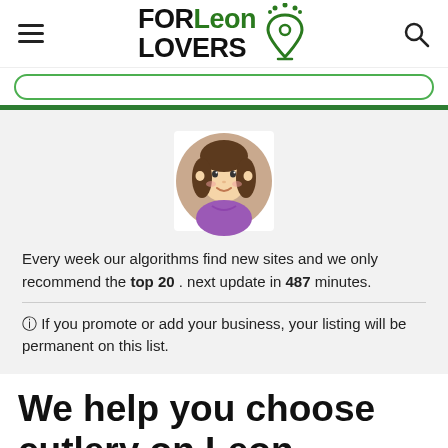FORLeon LOVERS
[Figure (illustration): Cartoon avatar of a girl with brown hair in a circular frame, wearing a purple top, smiling, on a light pink/beige background circle]
Every week our algorithms find new sites and we only recommend the top 20 . next update in 487 minutes.
🛈 If you promote or add your business, your listing will be permanent on this list.
We help you choose cutlery on Leon